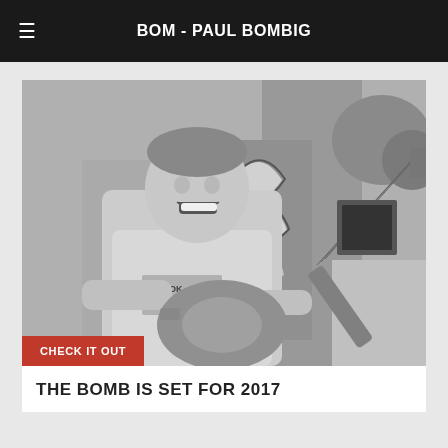BOM - PAUL BOMBIG
[Figure (photo): Black and white photo of a smiling man holding an acoustic guitar, wearing a Brooklyn NYC t-shirt, standing in front of a wall with graffiti]
CHECK IT OUT
THE BOMB IS SET FOR 2017